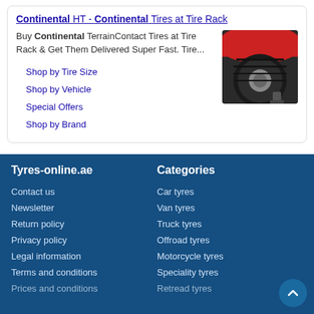Continental HT - Continental Tires at Tire Rack
Buy Continental TerrainContact Tires at Tire Rack & Get Them Delivered Super Fast. Tire...
[Figure (photo): Close-up photo of a car tire mounted on a red vehicle]
Shop by Tire Size
Shop by Vehicle
Special Offers
Shop by Brand
Tyres-online.ae
Categories
Contact us
Car tyres
Newsletter
Van tyres
Return policy
Truck tyres
Privacy policy
Offroad tyres
Legal information
Motorcycle tyres
Terms and conditions
Speciality tyres
Prices and conditions
Retread tyres